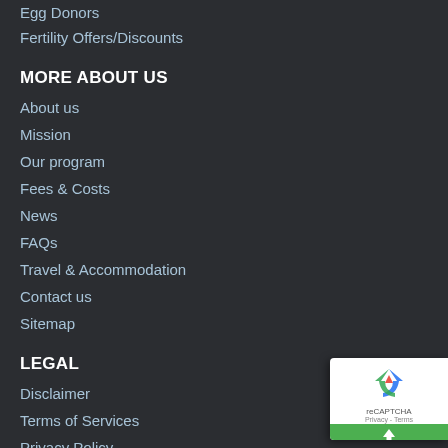Egg Donors
Fertility Offers/Discounts
MORE ABOUT US
About us
Mission
Our program
Fees & Costs
News
FAQs
Travel & Accommodation
Contact us
Sitemap
LEGAL
Disclaimer
Terms of Services
Privacy Policy
PROFESSIONAL AREA (CLINICS & SPECIALISTS)
General Info
[Figure (logo): reCAPTCHA badge with recycling arrow logo on white background and green bar at bottom with up arrow icon]